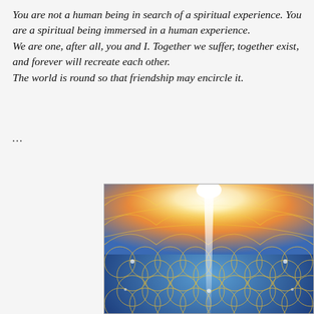You are not a human being in search of a spiritual experience. You are a spiritual being immersed in a human experience.
We are one, after all, you and I. Together we suffer, together exist, and forever will recreate each other.
The world is round so that friendship may encircle it.
...
[Figure (illustration): A colorful spiritual/geometric artwork featuring the Flower of Life sacred geometry pattern in blue and gold/yellow tones, with a bright white glowing light ray descending from the top center. The image has warm yellow and orange hues at the top transitioning to blue in the lower half, with intricate overlapping circular mandala-like patterns throughout.]